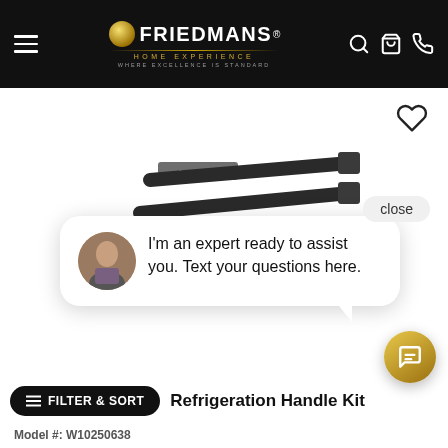[Figure (screenshot): Friedmans Home Experience website header with logo, hamburger menu, search, cart, and phone icons on black background]
[Figure (photo): Product photo of refrigeration handle kit bars on white background]
close
I'm an expert ready to assist you. Text your questions here.
FILTER & SORT
Refrigeration Handle Kit
Model #: W10250638